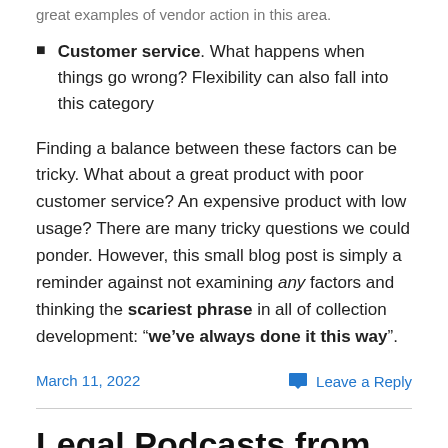great examples of vendor action in this area.
Customer service. What happens when things go wrong? Flexibility can also fall into this category
Finding a balance between these factors can be tricky. What about a great product with poor customer service? An expensive product with low usage? There are many tricky questions we could ponder. However, this small blog post is simply a reminder against not examining any factors and thinking the scariest phrase in all of collection development: “we’ve always done it this way”.
March 11, 2022
Leave a Reply
Legal Podcasts from Law 360